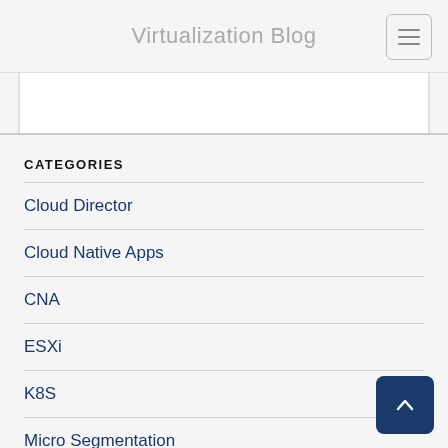Virtualization Blog
CATEGORIES
Cloud Director
Cloud Native Apps
CNA
ESXi
K8S
Micro Segmentation
New Info
NSX